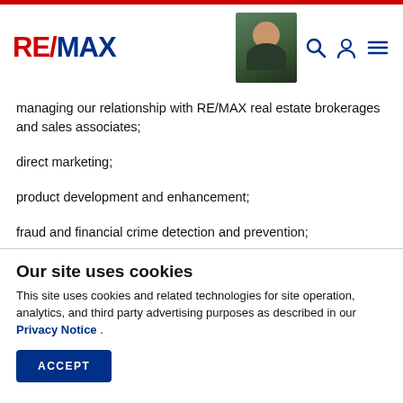RE/MAX
managing our relationship with RE/MAX real estate brokerages and sales associates;
direct marketing;
product development and enhancement;
fraud and financial crime detection and prevention;
information, system, network, and cyber security;
Our site uses cookies
This site uses cookies and related technologies for site operation, analytics, and third party advertising purposes as described in our Privacy Notice .